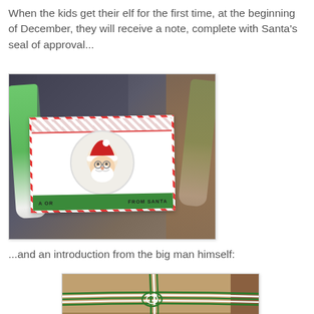When the kids get their elf for the first time, at the beginning of December, they will receive a note, complete with Santa's seal of approval...
[Figure (photo): An elf toy holding a Christmas card with Santa's seal of approval. The card has red and white candy-cane striped borders and a green bottom stripe with text 'FROM SANTA'. A circular Santa face illustration is in the center.]
...and an introduction from the big man himself:
[Figure (photo): A kraft paper wrapped package tied with green and white baker's twine, with a white envelope peeking out from underneath.]